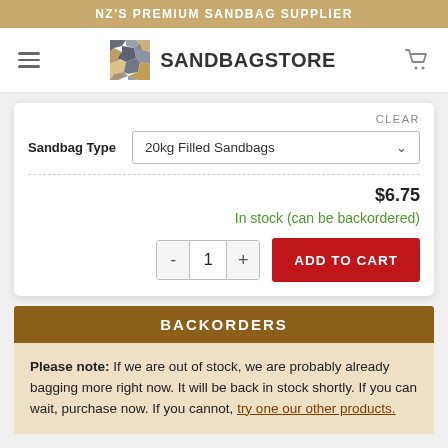NZ'S PREMIUM SANDBAG SUPPLIER
[Figure (logo): Sandbag Store logo with mosaic stone pattern icon and text SANDBAGSTORE]
CLEAR
Sandbag Type: 20kg Filled Sandbags
$6.75
In stock (can be backordered)
ADD TO CART
BACKORDERS
Please note: If we are out of stock, we are probably already bagging more right now. It will be back in stock shortly. If you can wait, purchase now. If you cannot, try one our other products.